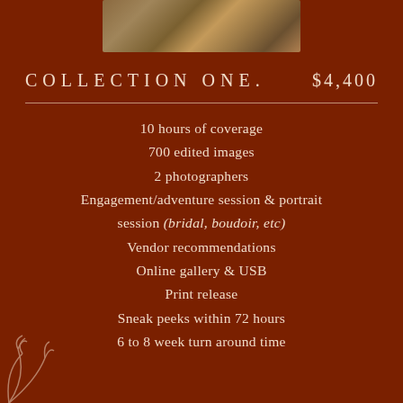[Figure (photo): Partial photograph at top showing outdoor earthy/nature scene]
COLLECTION ONE.    $4,400
10 hours of coverage
700 edited images
2 photographers
Engagement/adventure session & portrait session (bridal, boudoir, etc)
Vendor recommendations
Online gallery & USB
Print release
Sneak peeks within 72 hours
6 to 8 week turn around time